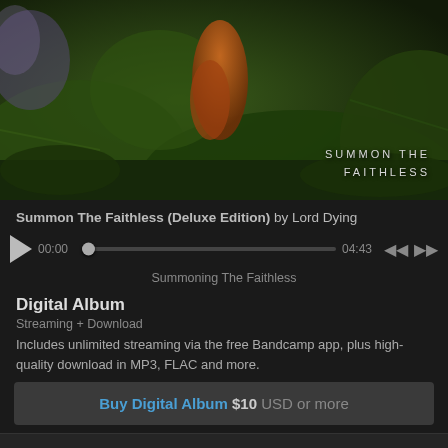[Figure (illustration): Album art for Summon The Faithless (Deluxe Edition) by Lord Dying — dark green and orange textured figures, with text overlay reading SUMMON THE FAITHLESS]
Summon The Faithless (Deluxe Edition) by Lord Dying
[Figure (other): Music player controls with play button, progress bar at 00:00, total time 04:43, skip back and skip forward buttons]
Summoning The Faithless
Digital Album
Streaming + Download
Includes unlimited streaming via the free Bandcamp app, plus high-quality download in MP3, FLAC and more.
Buy Digital Album $10 USD or more